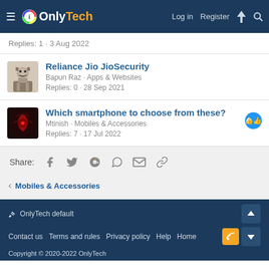OnlyTech · Log in · Register
Replies: 1 · 3 Aug 2022
Reliance Jio JioSecurity
Bapun Raz · Apps & Websites
Replies: 0 · 28 Sep 2021
Which smartphone to choose from these?
Mtinish · Mobiles & Accessories
Replies: 7 · 17 Jul 2022
Share:
Mobiles & Accessories
OnlyTech default
Contact us · Terms and rules · Privacy policy · Help · Home
Copyright © 2020-2022 OnlyTech